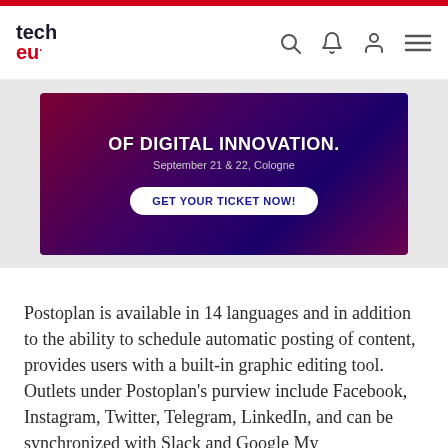tech.eu — navigation header with logo and icons
[Figure (infographic): Advertisement banner with dark purple/magenta gradient background showing text 'OF DIGITAL INNOVATION.' with date 'September 21 & 22, Cologne' and a white button 'GET YOUR TICKET NOW!']
Postoplan is available in 14 languages and in addition to the ability to schedule automatic posting of content, provides users with a built-in graphic editing tool. Outlets under Postoplan's purview include Facebook, Instagram, Twitter, Telegram, LinkedIn, and can be synchronized with Slack and Google My